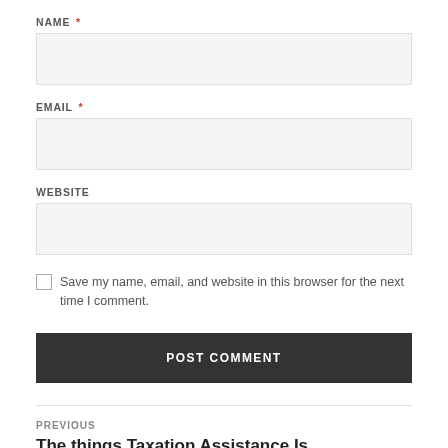NAME *
EMAIL *
WEBSITE
Save my name, email, and website in this browser for the next time I comment.
POST COMMENT
PREVIOUS
The things Taxation Assistance Is